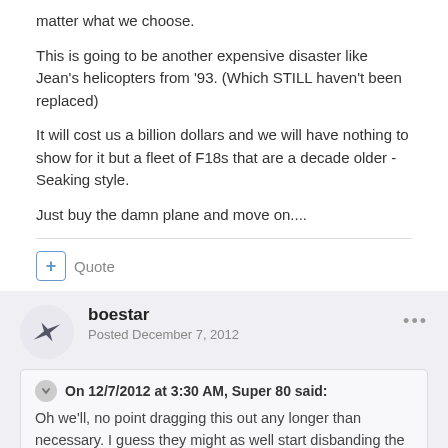matter what we choose.
This is going to be another expensive disaster like Jean's helicopters from '93. (Which STILL haven't been replaced)
It will cost us a billion dollars and we will have nothing to show for it but a fleet of F18s that are a decade older - Seaking style.
Just buy the damn plane and move on....
boestar
Posted December 7, 2012
On 12/7/2012 at 3:30 AM, Super 80 said:
Oh we'll, no point dragging this out any longer than necessary. I guess they might as well start disbanding the